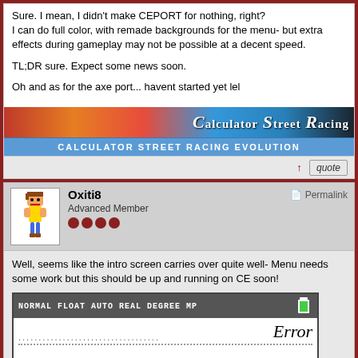Sure. I mean, I didn't make CEPORT for nothing, right?
I can do full color, with remade backgrounds for the menu- but extra effects during gameplay may not be possible at a decent speed.
TL;DR sure. Expect some news soon.
Oh and as for the axe port... havent started yet lel
[Figure (screenshot): Calculator Street Racing Evolution banner with cars and logo]
↑  quote
Oxiti8
Advanced Member
Permalink
Well, seems like the intro screen carries over quite well- Menu needs some work but this should be up and running on CE soon!
[Figure (screenshot): TI calculator screen showing NORMAL FLOAT AUTO REAL DEGREE MP status bar with battery icon, then Error text on dotted line]